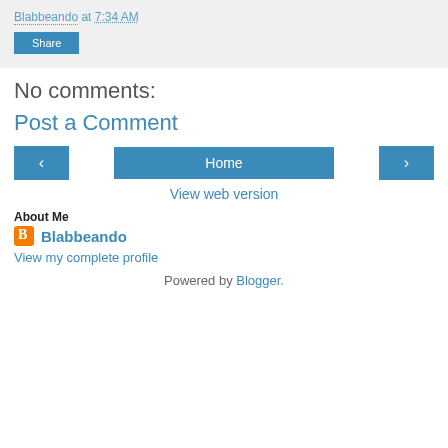Blabbeando at 7:34 AM
Share
No comments:
Post a Comment
‹
Home
›
View web version
About Me
Blabbeando
View my complete profile
Powered by Blogger.